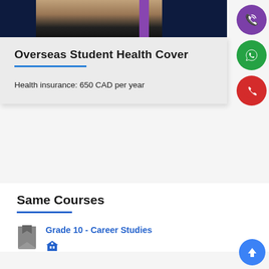[Figure (photo): Person in graduation gown with purple sash against dark navy background]
Overseas Student Health Cover
Health insurance: 650 CAD per year
[Figure (illustration): Viber icon - purple circle with phone receiver]
[Figure (illustration): WhatsApp icon - green circle with speech bubble phone]
[Figure (illustration): Phone icon - red circle with phone receiver]
Same Courses
Grade 10 - Career Studies